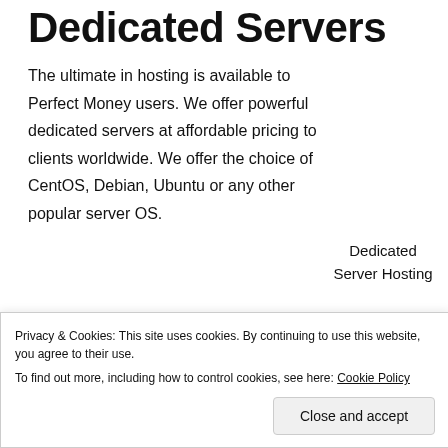Dedicated Servers
The ultimate in hosting is available to Perfect Money users. We offer powerful dedicated servers at affordable pricing to clients worldwide. We offer the choice of CentOS, Debian, Ubuntu or any other popular server OS.
Dedicated Server Hosting
Buy Dedicated Servers
Privacy & Cookies: This site uses cookies. By continuing to use this website, you agree to their use.
To find out more, including how to control cookies, see here: Cookie Policy
Close and accept